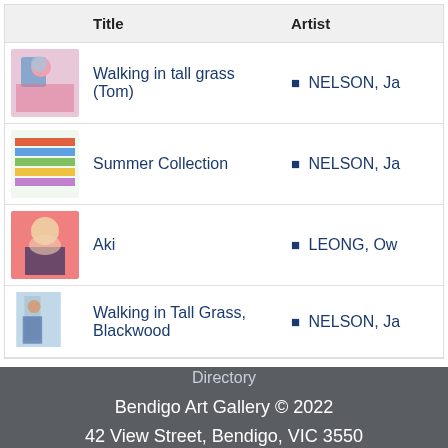|  | Title | Artist |
| --- | --- | --- |
| [img] | Walking in tall grass (Tom) | NELSON, Ja… |
| [img] | Summer Collection | NELSON, Ja… |
| [img] | Aki | LEONG, Ow… |
| [img] | Walking in Tall Grass, Blackwood | NELSON, Ja… |
Directory
Bendigo Art Gallery © 2022
42 View Street, Bendigo, VIC 3550